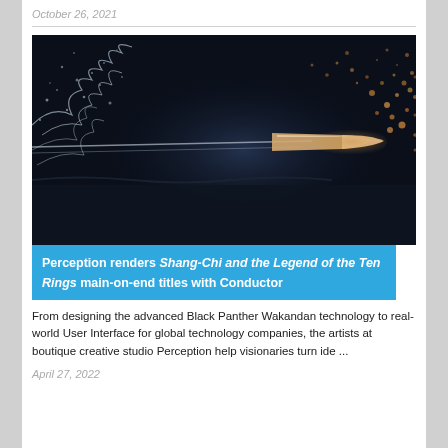October 26, 2021
[Figure (photo): High-speed photography of a bullet traveling through water, dark background with water splashes and droplets scattered around the bullet's path]
Perception renders Shang-Chi and the Legend of the Ten Rings main-on-end titles with Conductor
From designing the advanced Black Panther Wakandan technology to real-world User Interface for global technology companies, the artists at boutique creative studio Perception help visionaries turn ide ...
April 27, 2022